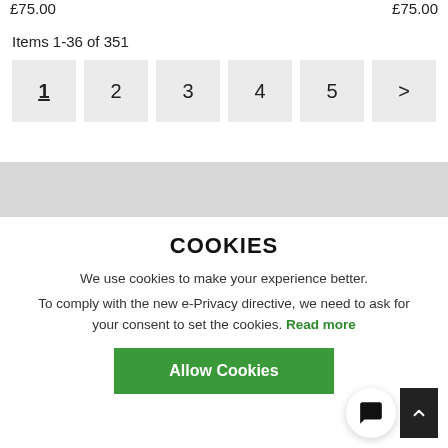£75.00   £75.00
Items 1-36 of 351
1  2  3  4  5  >
COOKIES
We use cookies to make your experience better.
To comply with the new e-Privacy directive, we need to ask for your consent to set the cookies. Read more
Allow Cookies